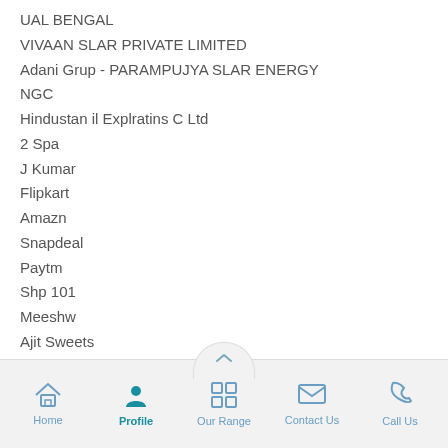UAL BENGAL
VIVAAN SLAR PRIVATE LIMITED
Adani Grup - PARAMPUJYA SLAR ENERGY
NGC
Hindustan il Explratins C Ltd
2 Spa
J Kumar
Flipkart
Amazn
Snapdeal
Paytm
Shp 101
Meeshw
Ajit Sweets
Mther Teresa Fundatin
Uni Biz
Home  Profile  Our Range  Contact Us  Call Us